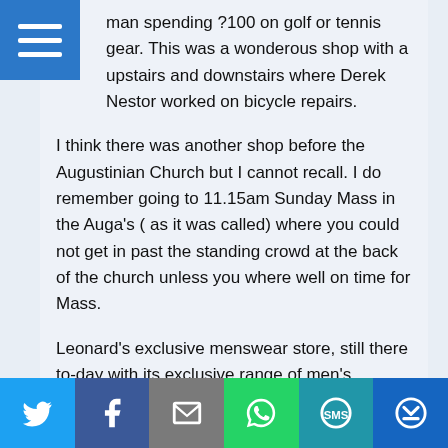man spending ?100 on golf or tennis gear. This was a wonderous shop with a upstairs and downstairs where Derek Nestor worked on bicycle repairs.
I think there was another shop before the Augustinian Church but I cannot recall. I do remember going to 11.15am Sunday Mass in the Auga's ( as it was called) where you could not get in past the standing crowd at the back of the church unless you where well on time for Mass.
Leonard's exclusive menswear store, still there to-day with its exclusive range of men's clothing